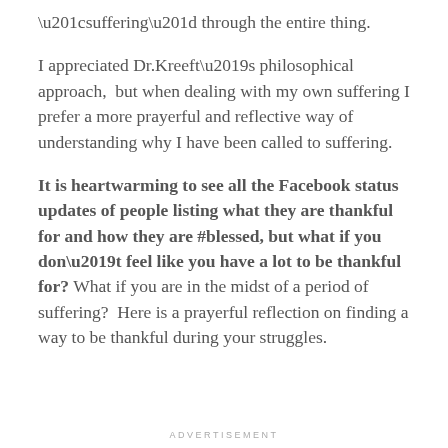“suffering” through the entire thing.
I appreciated Dr.Kreeft’s philosophical approach,  but when dealing with my own suffering I prefer a more prayerful and reflective way of understanding why I have been called to suffering.
It is heartwarming to see all the Facebook status updates of people listing what they are thankful for and how they are #blessed, but what if you don’t feel like you have a lot to be thankful for? What if you are in the midst of a period of suffering?  Here is a prayerful reflection on finding a way to be thankful during your struggles.
ADVERTISEMENT